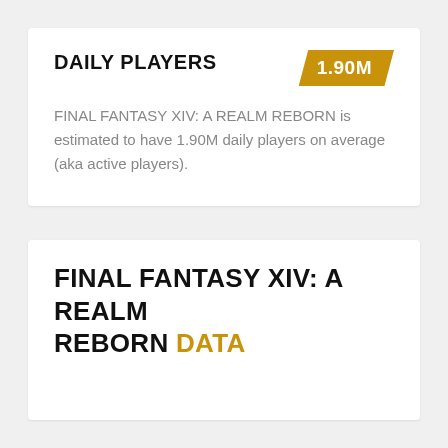DAILY PLAYERS
1.90M
FINAL FANTASY XIV: A REALM REBORN is estimated to have 1.90M daily players on average (aka active players).
FINAL FANTASY XIV: A REALM REBORN DATA